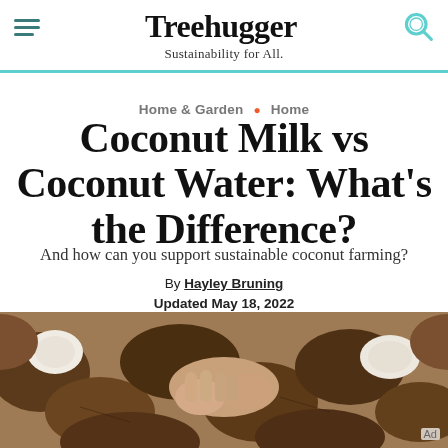Treehugger — Sustainability for All.
Home & Garden • Home
Coconut Milk vs Coconut Water: What's the Difference?
And how can you support sustainable coconut farming?
By Hayley Bruning
Updated May 18, 2022
[Figure (photo): Hands holding open coconuts among a pile of cracked brown coconuts, with white coconut flesh visible.]